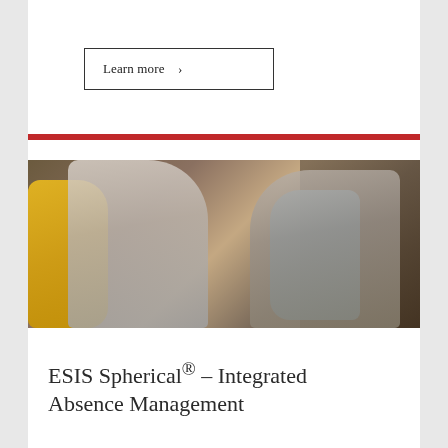Learn more  >
[Figure (photo): Two businessmen in smart casual attire seated in colorful modern chairs (yellow and blue), one showing a tablet to the other, in a hotel lobby or office lounge setting. Professional business meeting scene.]
ESIS Spherical® – Integrated Absence Management